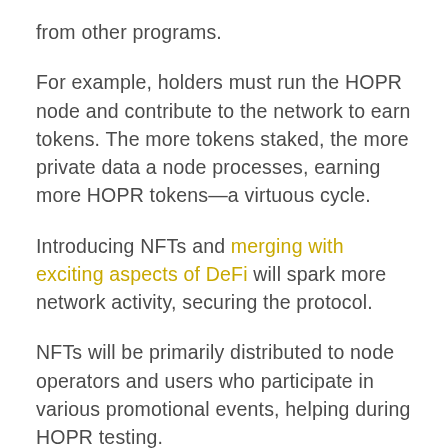from other programs.
For example, holders must run the HOPR node and contribute to the network to earn tokens. The more tokens staked, the more private data a node processes, earning more HOPR tokens—a virtuous cycle.
Introducing NFTs and merging with exciting aspects of DeFi will spark more network activity, securing the protocol.
NFTs will be primarily distributed to node operators and users who participate in various promotional events, helping during HOPR testing.
The HOPR development team also plans to distribute more NFTs during the EthCC conference in Paris,